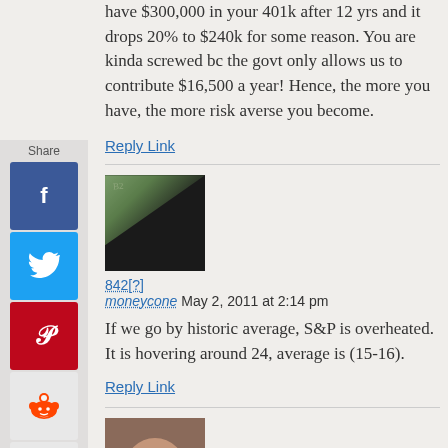have $300,000 in your 401k after 12 yrs and it drops 20% to $240k for some reason. You are kinda screwed bc the govt only allows us to contribute $16,500 a year! Hence, the more you have, the more risk averse you become.
Reply Link
[Figure (photo): Photo of folded dollar bills against a dark background, showing corner of bills with partial text visible]
842[?] moneycone May 2, 2011 at 2:14 pm
If we go by historic average, S&P is overheated. It is hovering around 24, average is (15-16).
Reply Link
[Figure (photo): Partial photo of a person's head/face at bottom of page]